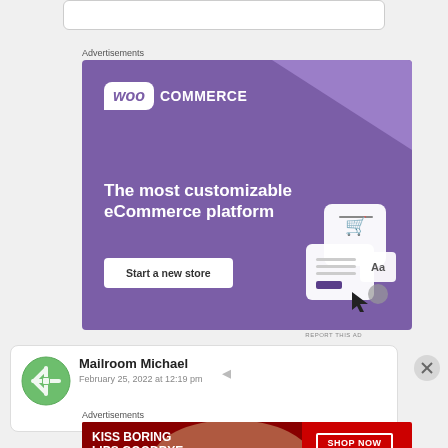[Figure (screenshot): Search bar at top of page, partially visible]
Advertisements
[Figure (illustration): WooCommerce advertisement banner. Purple background with WooCommerce logo, tagline 'The most customizable eCommerce platform', and 'Start a new store' button. Includes mockup graphics of a shopping cart and document UI elements.]
REPORT THIS AD
[Figure (screenshot): Comment section entry showing green snowflake/mandala avatar icon, author name 'Mailroom Michael', and partial date 'February 25, 2022 at 12:19 pm']
Advertisements
[Figure (illustration): Macy's advertisement banner. Red background with woman's lips/face photo, text 'KISS BORING LIPS GOODBYE', 'SHOP NOW' button, and Macy's star logo.]